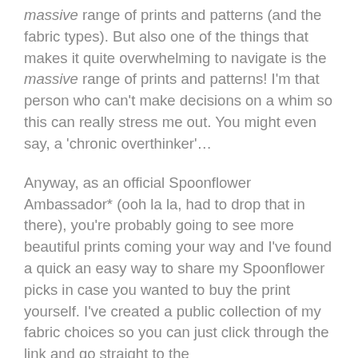massive range of prints and patterns (and the fabric types). But also one of the things that makes it quite overwhelming to navigate is the massive range of prints and patterns! I'm that person who can't make decisions on a whim so this can really stress me out. You might even say, a 'chronic overthinker'...
Anyway, as an official Spoonflower Ambassador* (ooh la la, had to drop that in there), you're probably going to see more beautiful prints coming your way and I've found a quick an easy way to share my Spoonflower picks in case you wanted to buy the print yourself. I've created a public collection of my fabric choices so you can just click through the link and go straight to the